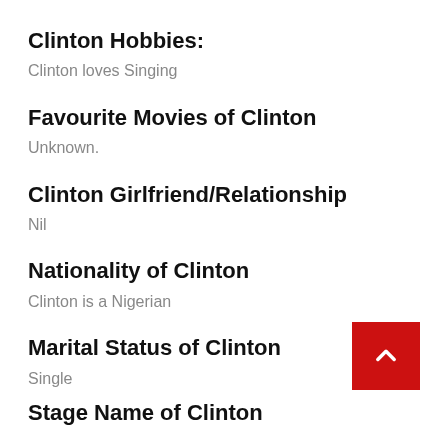Clinton Hobbies:
Clinton loves Singing
Favourite Movies of Clinton
Unknown.
Clinton Girlfriend/Relationship
Nil
Nationality of Clinton
Clinton is a Nigerian
Marital Status of Clinton
Single
Stage Name of Clinton